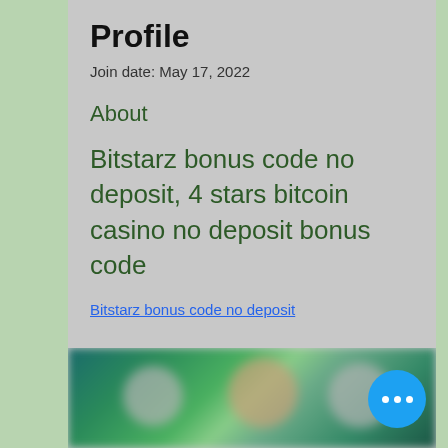Profile
Join date: May 17, 2022
About
Bitstarz bonus code no deposit, 4 stars bitcoin casino no deposit bonus code
Bitstarz bonus code no deposit
[Figure (photo): Blurred image of people or characters, partially visible at the bottom of the page, with a blue floating action button showing three dots (ellipsis menu)]